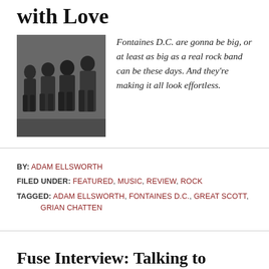with Love
[Figure (photo): Black and white photo of a rock band (Fontaines D.C.), four members standing together in dark clothing]
Fontaines D.C. are gonna be big, or at least as big as a real rock band can be these days. And they're making it all look effortless.
BY: ADAM ELLSWORTH
FILED UNDER: FEATURED, MUSIC, REVIEW, ROCK
TAGGED: ADAM ELLSWORTH, FONTAINES D.C., GREAT SCOTT, GRIAN CHATTEN
Fuse Interview: Talking to Rising Comedian Michael